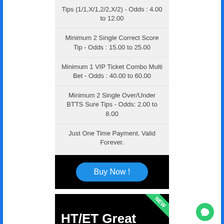Tips (1/1,X/1,2/2,X/2) - Odds : 4.00 to 12.00
Minimum 2 Single Correct Score Tip - Odds : 15.00 to 25.00
Minimum 1 VIP Ticket Combo Multi Bet - Odds : 40.00 to 60.00
Minimum 2 Single Over/Under BTTS Sure Tips - Odds: 2.00 to 8.00
Just One Time Payment. Valid Forever.
[Figure (other): Black button area with blue rounded 'Buy Now!' button]
[Figure (other): Black banner with green 'NEW' diagonal badge and white text 'HT/ET Great']